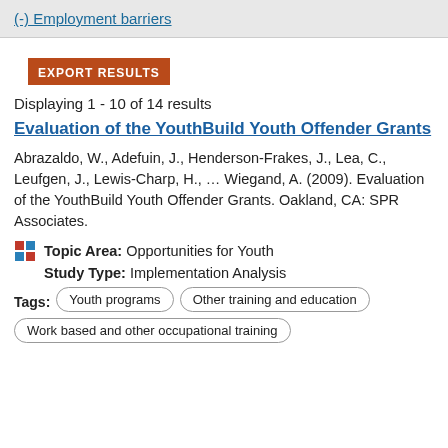(-) Employment barriers
EXPORT RESULTS
Displaying 1 - 10 of 14 results
Evaluation of the YouthBuild Youth Offender Grants
Abrazaldo, W., Adefuin, J., Henderson-Frakes, J., Lea, C., Leufgen, J., Lewis-Charp, H., … Wiegand, A. (2009). Evaluation of the YouthBuild Youth Offender Grants. Oakland, CA: SPR Associates.
Topic Area: Opportunities for Youth
Study Type: Implementation Analysis
Youth programs
Other training and education
Work based and other occupational training